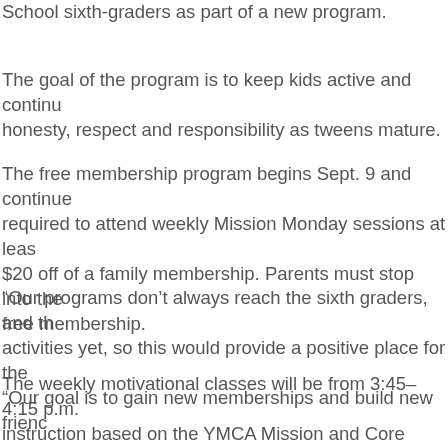School sixth-graders as part of a new program.
The goal of the program is to keep kids active and continu... honesty, respect and responsibility as tweens mature.
The free membership program begins Sept. 9 and continue... required to attend weekly Mission Monday sessions at leas... $20 off of a family membership. Parents must stop into the... free membership.
“Our programs don’t always reach the sixth graders, and th... activities yet, so this would provide a positive place for the... “Our goal is to gain new memberships and build new frienc...
The weekly motivational classes will be from 3:45–4:15 p.m.... instruction based on the YMCA Mission and Core Values. Y... be leading most of the meetings. Community speakers may...